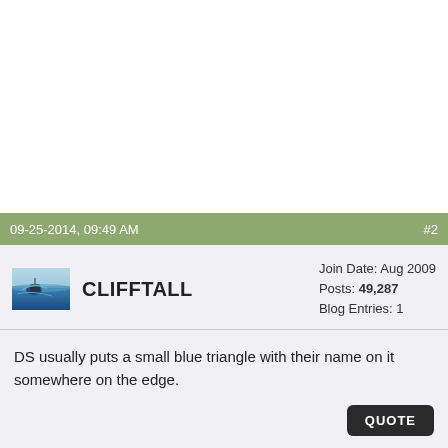09-25-2014, 09:49 AM  #2
CLIFFTALL
Join Date: Aug 2009
Posts: 49,287
Blog Entries: 1
DS usually puts a small blue triangle with their name on it somewhere on the edge.
09-25-2014, 09:53 AM  #3
Join Date: Aug 2009